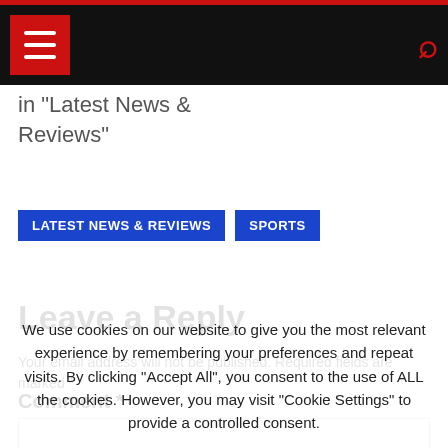Navigation bar with hamburger menu and search icon
in "Latest News & Reviews"
LATEST NEWS & REVIEWS   SPORTS
Leave a Reply
Your email address will not be published. Required fields are marked *
Comment *
We use cookies on our website to give you the most relevant experience by remembering your preferences and repeat visits. By clicking "Accept All", you consent to the use of ALL the cookies. However, you may visit "Cookie Settings" to provide a controlled consent.